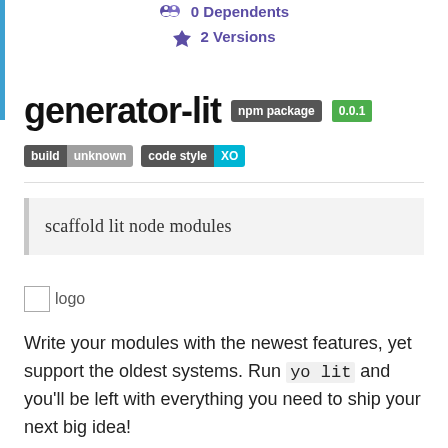0 Dependents
2 Versions
generator-lit  npm package  0.0.1
[Figure (other): build unknown badge and code style XO badge]
scaffold lit node modules
[Figure (other): Broken logo image placeholder with alt text 'logo']
Write your modules with the newest features, yet support the oldest systems. Run yo lit and you'll be left with everything you need to ship your next big idea!